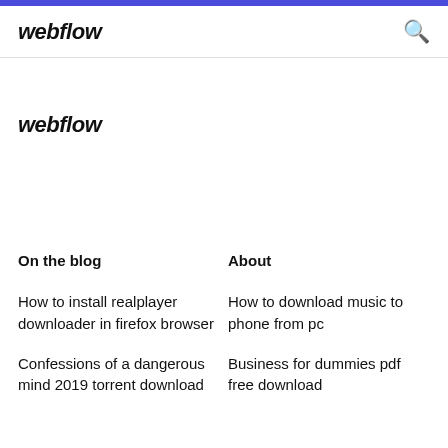webflow
webflow
On the blog
About
How to install realplayer downloader in firefox browser
Confessions of a dangerous mind 2019 torrent download
How to download music to phone from pc
Business for dummies pdf free download